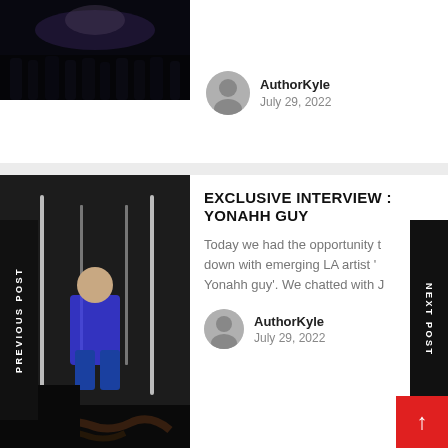[Figure (photo): Concert/event dark photo - top article thumbnail]
AuthorKyle
July 29, 2022
[Figure (photo): Studio photo of artist Yonahh Guy]
EXCLUSIVE INTERVIEW : YONAHH GUY
Today we had the opportunity to sit down with emerging LA artist 'Yonahh guy'. We chatted with J
AuthorKyle
July 29, 2022
[Figure (photo): Photo of Yung Raf in blue hoodie]
YUNG RAF IS WINNING AND HERE'S WHY
Hailing from New York City, Yung Raf is making significant steps ahead in just two years of wo...